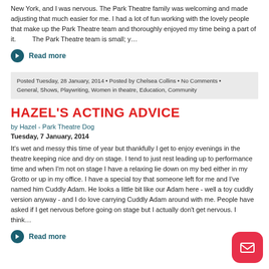New York, and I was nervous. The Park Theatre family was welcoming and made adjusting that much easier for me. I had a lot of fun working with the lovely people that make up the Park Theatre team and thoroughly enjoyed my time being a part of it.        The Park Theatre team is small; y…
Read more
Posted Tuesday, 28 January, 2014 • Posted by Chelsea Collins • No Comments • General, Shows, Playwriting, Women in theatre, Education, Community
HAZEL'S ACTING ADVICE
by Hazel - Park Theatre Dog
Tuesday, 7 January, 2014
It's wet and messy this time of year but thankfully I get to enjoy evenings in the theatre keeping nice and dry on stage. I tend to just rest leading up to performance time and when I'm not on stage I have a relaxing lie down on my bed either in my Grotto or up in my office. I have a special toy that someone left for me and I've named him Cuddly Adam. He looks a little bit like our Adam here - well a toy cuddly version anyway - and I do love carrying Cuddly Adam around with me. People have asked if I get nervous before going on stage but I actually don't get nervous. I think…
Read more